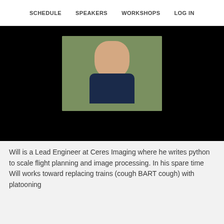SCHEDULE    SPEAKERS    WORKSHOPS    LOG IN
[Figure (photo): Headshot of a man in a dark suit jacket, smiling, with trees in the background. Photo is centered in a black-background container.]
Will is a Lead Engineer at Ceres Imaging where he writes python to scale flight planning and image processing. In his spare time Will works toward replacing trains (cough BART cough) with platooning